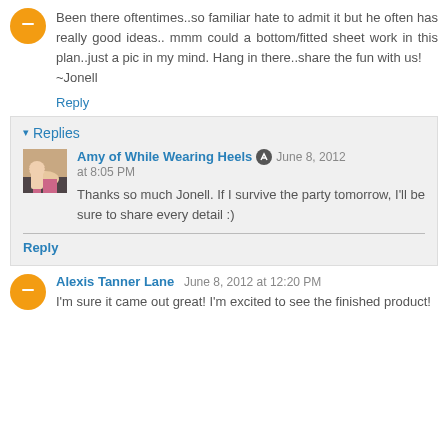Been there oftentimes..so familiar hate to admit it but he often has really good ideas.. mmm could a bottom/fitted sheet work in this plan..just a pic in my mind. Hang in there..share the fun with us!
~Jonell
Reply
Replies
Amy of While Wearing Heels  June 8, 2012 at 8:05 PM
Thanks so much Jonell. If I survive the party tomorrow, I'll be sure to share every detail :)
Reply
Alexis Tanner Lane  June 8, 2012 at 12:20 PM
I'm sure it came out great! I'm excited to see the finished product!